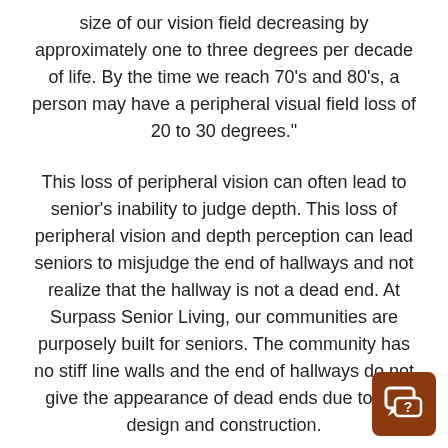size of our vision field decreasing by approximately one to three degrees per decade of life. By the time we reach 70's and 80's, a person may have a peripheral visual field loss of 20 to 30 degrees."
This loss of peripheral vision can often lead to senior's inability to judge depth. This loss of peripheral vision and depth perception can lead seniors to misjudge the end of hallways and not realize that the hallway is not a dead end. At Surpass Senior Living, our communities are purposely built for seniors. The community has no stiff line walls and the end of hallways do not give the appearance of dead ends due to the design and construction.